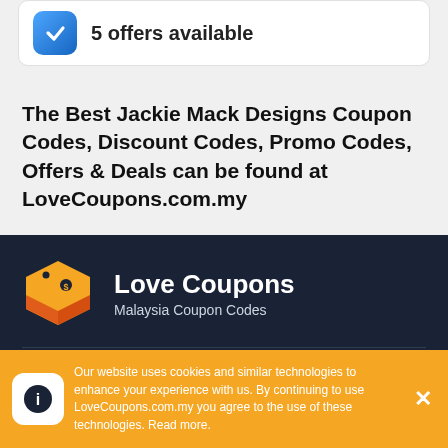5 offers available
The Best Jackie Mack Designs Coupon Codes, Discount Codes, Promo Codes, Offers & Deals can be found at LoveCoupons.com.my
[Figure (logo): Love Coupons Malaysia Coupon Codes logo with price tag icon]
Website Info
Our website uses cookies and similar technologies to enhance your experience with us. By continuing to use LoveCoupons.com.my you agree to the use of these technologies. Read more.